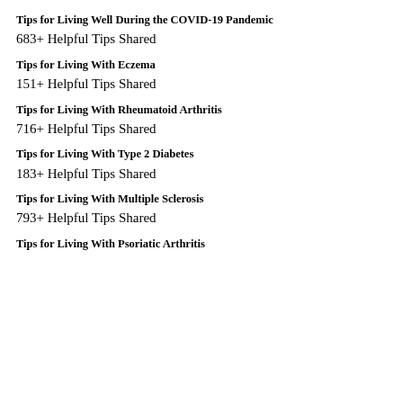Tips for Living Well During the COVID-19 Pandemic
683+ Helpful Tips Shared
Tips for Living With Eczema
151+ Helpful Tips Shared
Tips for Living With Rheumatoid Arthritis
716+ Helpful Tips Shared
Tips for Living With Type 2 Diabetes
183+ Helpful Tips Shared
Tips for Living With Multiple Sclerosis
793+ Helpful Tips Shared
Tips for Living With Psoriatic Arthritis